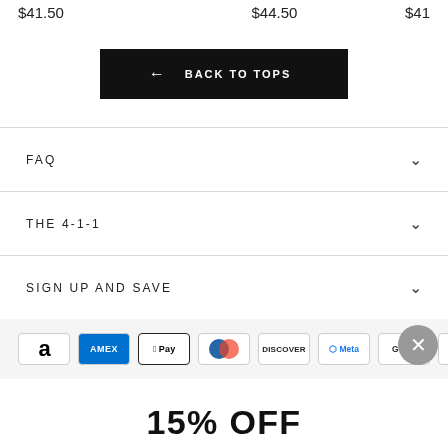$41.50  $44.50  $41...
[Figure (other): Black button with left arrow icon and text BACK TO TOPS]
FAQ
THE 4-1-1
SIGN UP AND SAVE
[Figure (other): Payment method icons: Amazon, AMEX, Apple Pay, Diners, Discover, Meta, Google Pay, Mastercard]
15% OFF
ACTIVATE DISCOUNT